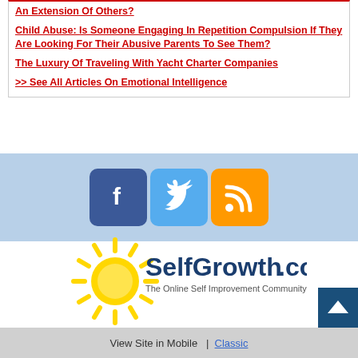An Extension Of Others?
Child Abuse: Is Someone Engaging In Repetition Compulsion If They Are Looking For Their Abusive Parents To See Them?
The Luxury Of Traveling With Yacht Charter Companies
>> See All Articles On Emotional Intelligence
[Figure (infographic): Social media icons: Facebook (blue), Twitter (light blue), RSS feed (orange), arranged horizontally on a light blue background bar]
[Figure (logo): SelfGrowth.com logo with yellow sun graphic and text 'SelfGrowth.com - The Online Self Improvement Community']
View Site in Mobile  |  Classic